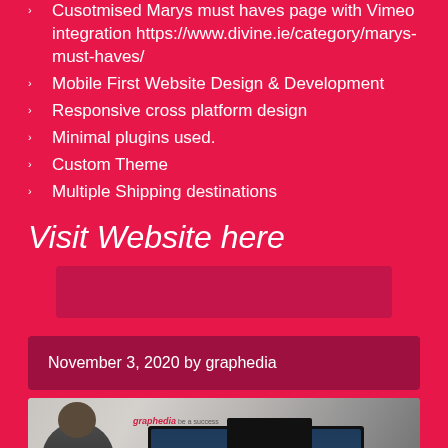Cusotmised Marys must haves page with Vimeo integration https://www.divine.ie/category/marys-must-haves/
Mobile First Website Design & Development
Responsive cross platform design
Minimal plugins used.
Custom Theme
Multiple Shipping destinations
Visit Website here
November 3, 2020 by graphedia
[Figure (photo): Photo of a person sitting in front of laptop screens showing a website, with graphedia logo visible and a Google Maps privacy/terms badge in the bottom right corner]